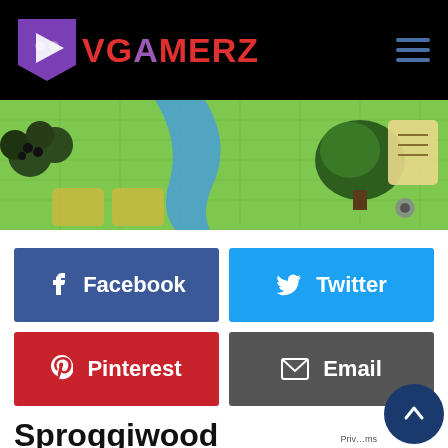VGAMERZ
[Figure (screenshot): Sproggiwood game isometric screenshot showing a green grid-based map with trees, bushes, and UI icons.]
[Figure (infographic): Social share buttons: Facebook (blue), Twitter (cyan), Pinterest (red), Email (dark grey)]
Sproggiwood
There are a lot of games out there that need to be played, and too many of those games are hidden away beneath the tide of AAA tripe that we were